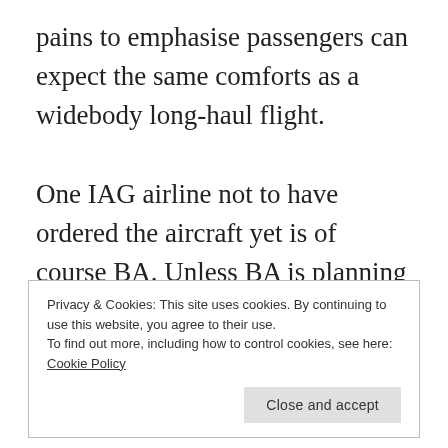pains to emphasise passengers can expect the same comforts as a widebody long-haul flight.

One IAG airline not to have ordered the aircraft yet is of course BA. Unless BA is planning a return to UK regional airports, it's unlikely that this will be operated by
Privacy & Cookies: This site uses cookies. By continuing to use this website, you agree to their use.
To find out more, including how to control cookies, see here: Cookie Policy

Close and accept